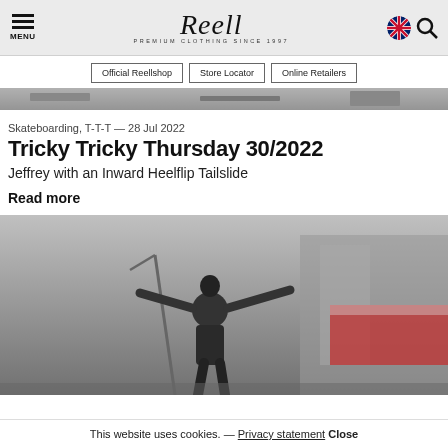MENU | Reell Premium Clothing Since 1997
Official Reellshop
Store Locator
Online Retailers
[Figure (photo): Horizontal banner photo strip showing a skatepark or urban scene in muted gray tones]
Skateboarding, T-T-T — 28 Jul 2022
Tricky Tricky Thursday 30/2022
Jeffrey with an Inward Heelflip Tailslide
Read more
[Figure (photo): Skateboarder performing a trick in an urban environment, arms outstretched, dark clothing, cityscape and construction barrier visible in background]
This website uses cookies. — Privacy statement Close